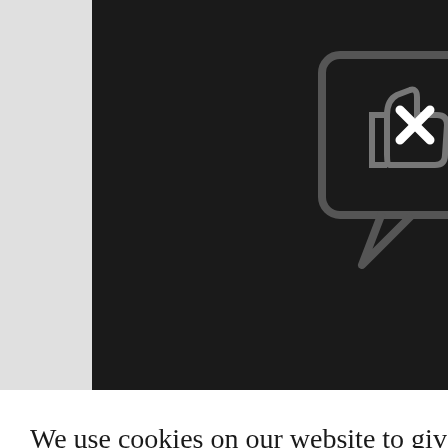[Figure (illustration): Dark background with a speech bubble icon containing a thumbs-up symbol and an X mark overlay]
We use cookies on our website to give you the most relevant experience by remembering your preferences and repeat visits. By clicking “Accept All”, you consent to the use of ALL the cookies. However, you may visit "Cookie Settings" to provide a controlled consent.
Cookie Settings
Accept All